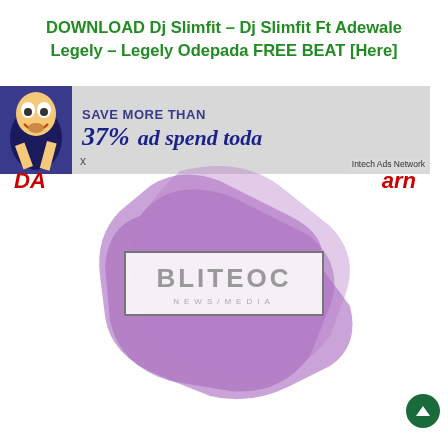DOWNLOAD Dj Slimfit – Dj Slimfit Ft Adewale Legely – Legely Odepada FREE BEAT [Here]
[Figure (screenshot): Advertisement banner showing 'SAVE MORE THAN 37% ad spend toda...' with a cartoon character and Intech Ads Network label, overlaid with a purple brush-stroke watermark and BLITEOC NEWS/MEDIA logo box. Red italic text 'DA' on left and 'arn' on right partially visible. Dark green circular scroll-to-top button in bottom right.]